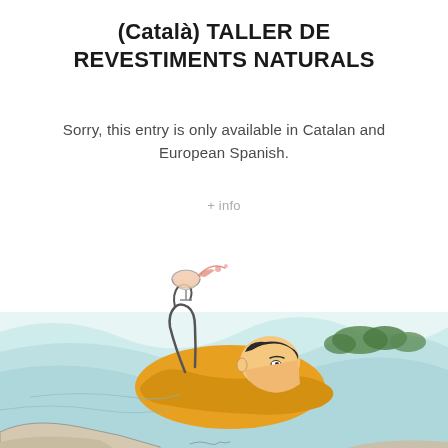(Català) TALLER DE REVESTIMENTS NATURALS
Sorry, this entry is only available in Catalan and European Spanish.
+ info
[Figure (illustration): Hand-drawn illustration of a person in a yellow outfit lying back and raising a wine glass, surrounded by stylized water with light blue tones, and greenery in the background.]